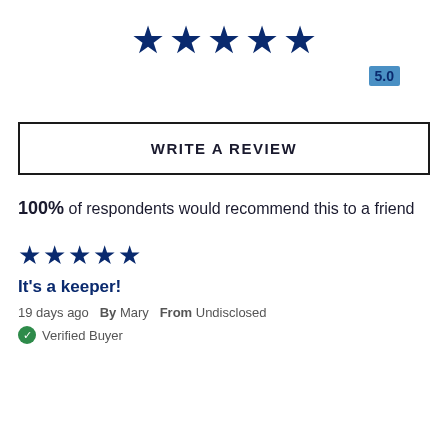[Figure (other): Five filled dark blue stars rating display]
5.0
WRITE A REVIEW
100% of respondents would recommend this to a friend
[Figure (other): Five filled dark blue stars rating display for review]
It's a keeper!
19 days ago  By Mary  From Undisclosed
Verified Buyer